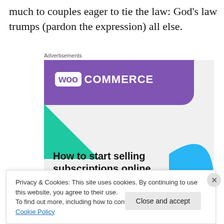much to couples eager to tie the law: God's law trumps (pardon the expression) all else.
[Figure (illustration): WooCommerce advertisement banner showing the WooCommerce logo on a purple background with teal and blue decorative shapes, and the headline 'How to start selling subscriptions online']
Privacy & Cookies: This site uses cookies. By continuing to use this website, you agree to their use. To find out more, including how to control cookies, see here: Cookie Policy